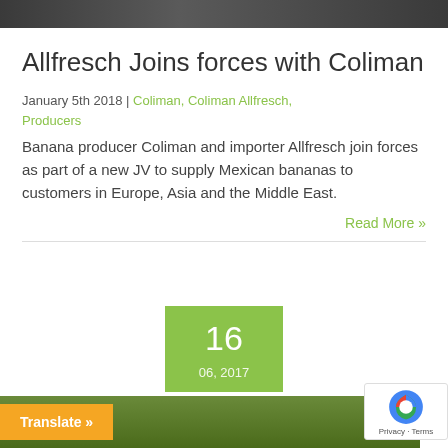[Figure (photo): Top portion of a photo showing people in dark clothing outdoors]
Allfresch Joins forces with Coliman
January 5th 2018 | Coliman, Coliman Allfresch, Producers
Banana producer Coliman and importer Allfresch join forces as part of a new JV to supply Mexican bananas to customers in Europe, Asia and the Middle East.
Read More »
[Figure (other): Green date box showing '16' and '06, 2017']
[Figure (photo): Bottom portion showing green foliage/plants]
Translate »